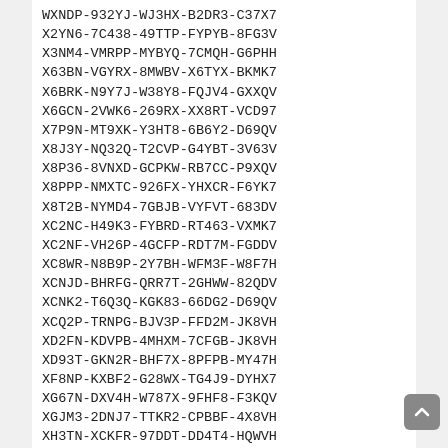WXNDP-932YJ-WJ3HX-B2DR3-C37X7
X2YN6-7C438-49TTP-FYPYB-8FG3V
X3NM4-VMRPP-MYBYQ-7CMQH-G6PHH
X63BN-VGYRX-8MWBV-X6TYX-BKMK7
X6BRK-N9Y7J-W38Y8-FQJV4-GXXQV
X6GCN-2VWK6-269RX-XX8RT-VCD97
X7P9N-MT9XK-Y3HT8-6B6Y2-D69QV
X8J3Y-NQ32Q-T2CVP-G4YBT-3V63V
X8P36-8VNXD-GCPKW-RB7CC-P9XQV
X8PPP-NMXTC-926FX-YHXCR-F6YK7
X8T2B-NYMD4-7GBJB-VYFVT-683DV
XC2NC-H49K3-FYBRD-RT463-VXMK7
XC2NF-VH26P-4GCFP-RDT7M-FGDDV
XC8WR-N8B9P-2Y7BH-WFM3F-W8F7H
XCNJD-BHRFG-QRR7T-2GHWW-82QDV
XCNK2-T6Q3Q-KGK83-66DG2-D69QV
XCQ2P-TRNPG-BJV3P-FFD2M-JK8VH
XD2FN-KDVPB-4MHXM-7CFGB-JK8VH
XD93T-GKN2R-BHF7X-8PFPB-MY47H
XF8NP-KXBF2-G28WX-TG4J9-DYHX7
XG67N-DXV4H-W787X-9FHF8-F3KQV
XGJM3-2DNJ7-TTKR2-CPBBF-4X8VH
XH3TN-XCKFR-97DDT-DD4T4-HQWVH